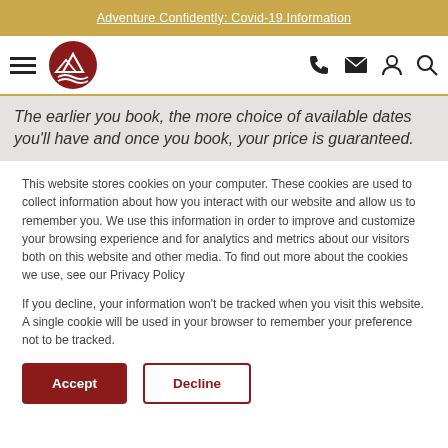Adventure Confidently: Covid-19 Information
[Figure (logo): Mountain travel company logo — circular red emblem with mountain peaks and wave, hamburger menu icon on left, navigation icons (phone, mail, user, search) on right]
The earlier you book, the more choice of available dates you'll have and once you book, your price is guaranteed.
This website stores cookies on your computer. These cookies are used to collect information about how you interact with our website and allow us to remember you. We use this information in order to improve and customize your browsing experience and for analytics and metrics about our visitors both on this website and other media. To find out more about the cookies we use, see our Privacy Policy
If you decline, your information won't be tracked when you visit this website. A single cookie will be used in your browser to remember your preference not to be tracked.
Accept | Decline